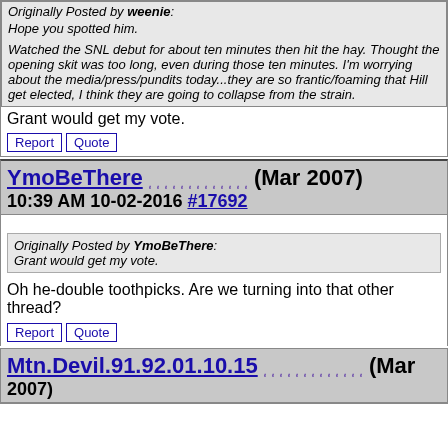Originally Posted by weenie: Hope you spotted him. Watched the SNL debut for about ten minutes then hit the hay. Thought the opening skit was too long, even during those ten minutes. I'm worrying about the media/press/pundits today...they are so frantic/foaming that Hill get elected, I think they are going to collapse from the strain.
Grant would get my vote.
Report  Quote
YmoBeThere (Mar 2007) 10:39 AM 10-02-2016 #17692
Originally Posted by YmoBeThere: Grant would get my vote.
Oh he-double toothpicks. Are we turning into that other thread?
Report  Quote
Mtn.Devil.91.92.01.10.15 (Mar 2007)